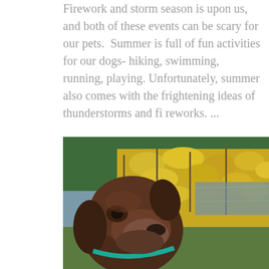Firework and storm season is upon us, and both of these events can be scary for our pets.  Summer is full of fun activities for our dogs- hiking, swimming, running, playing. Unfortunately, summer also comes with the frightening ideas of thunderstorms and fi reworks. ...
[Figure (photo): A chocolate Labrador or similar brown dog wearing a teal/turquoise collar, photographed outdoors in front of yellow flowering bushes and a blurred background with trees and water.]